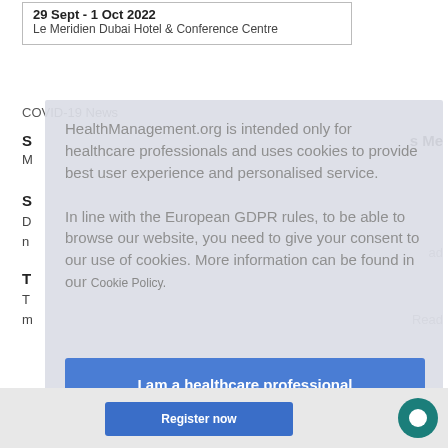29 Sept - 1 Oct 2022
Le Meridien Dubai Hotel & Conference Centre
COVID-19 News
S
M
S
D
n
Read
m
T
T
m
Read
HealthManagement.org is intended only for healthcare professionals and uses cookies to provide best user experience and personalised service.

In line with the European GDPR rules, to be able to browse our website, you need to give your consent to our use of cookies. More information can be found in our Cookie Policy.
I am a healthcare professional and consent to the use of cookies
Register now